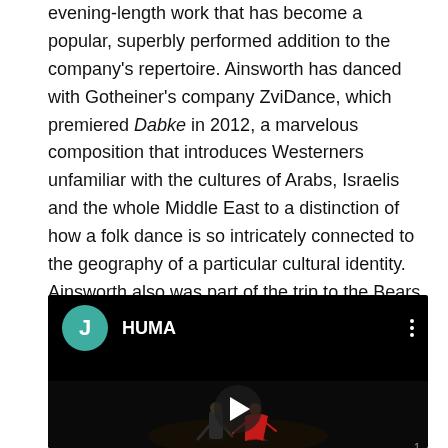evening-length work that has become a popular, superbly performed addition to the company's repertoire. Ainsworth has danced with Gotheiner's company ZviDance, which premiered Dabke in 2012, a marvelous composition that introduces Westerners unfamiliar with the cultures of Arabs, Israelis and the whole Middle East to a distinction of how a folk dance is so intricately connected to the geography of a particular cultural identity. Ainsworth also was part of the trip to the Bears Ears National Monument in Utah, when Gotheiner collaborated with RDT to set the 2017 premiere of Dancing The Bears Ears.
[Figure (screenshot): Embedded video player with black background. Top bar shows teal avatar with letter J and channel name HUMA with three-dot menu. Center shows two dancers on a dark stage with a play button overlay. Page number 1 at bottom right.]